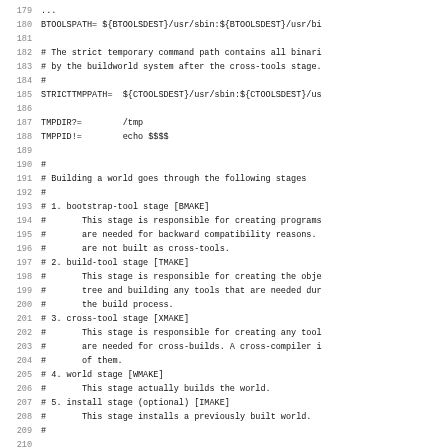Source code listing lines 180-211, showing Makefile/shell variable definitions and comments about build stages (bootstrap-tool, build-tool, cross-tool, world, install).